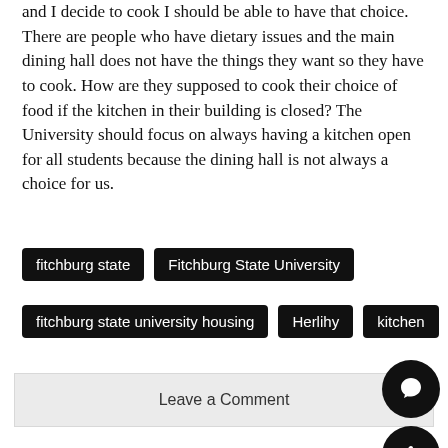and I decide to cook I should be able to have that choice. There are people who have dietary issues and the main dining hall does not have the things they want so they have to cook. How are they supposed to cook their choice of food if the kitchen in their building is closed? The University should focus on always having a kitchen open for all students because the dining hall is not always a choice for us.
fitchburg state
Fitchburg State University
fitchburg state university housing
Herlihy
kitchen
Leave a Comment